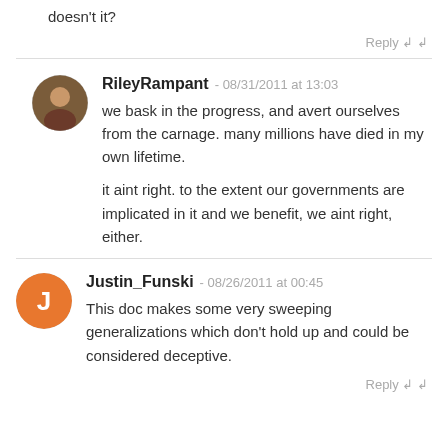doesn't it?
Reply
RileyRampant - 08/31/2011 at 13:03
we bask in the progress, and avert ourselves from the carnage. many millions have died in my own lifetime.

it aint right. to the extent our governments are implicated in it and we benefit, we aint right, either.
Justin_Funski - 08/26/2011 at 00:45
This doc makes some very sweeping generalizations which don't hold up and could be considered deceptive.
Reply